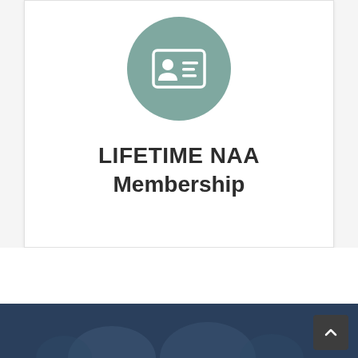[Figure (illustration): A circular teal/muted-green icon containing a white membership card graphic with a person silhouette and horizontal lines representing text fields]
LIFETIME NAA Membership